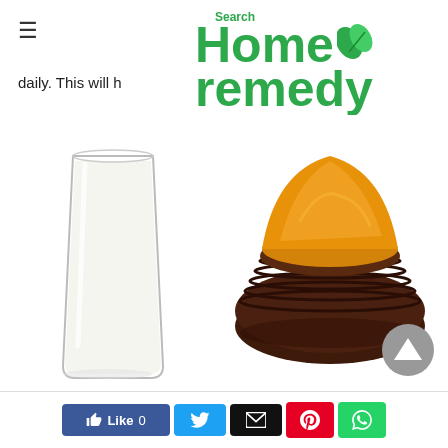Search Home remedy
daily. This will h
[Figure (photo): A glass of white milk on the left and a dark wooden bowl filled with golden turmeric powder on the right, on a white background.]
[Figure (other): Social media sharing bar with Like (Facebook), Twitter, Email, Pinterest, and WhatsApp buttons. Also a scroll-to-top button (grey circle with upward triangle).]